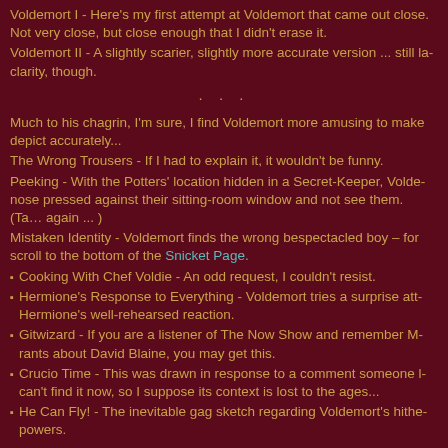Voldemort I - Here's my first attempt at Voldemort that came out close. Not very close, but close enough that I didn't erase it.
Voldemort II - A slightly scarier, slightly more accurate version ... still lacking clarity, though.
· · ·
Much to his chagrin, I'm sure, I find Voldemort more amusing to make than depict accurately...
The Wrong Trousers - If I had to explain it, it wouldn't be funny.
Peeking - With the Potters' location hidden in a Secret-Keeper, Voldemort's nose pressed against their sitting-room window and not see them. (Ta... again ... )
Mistaken Identity - Voldemort finds the wrong bespectacled boy – for more, scroll to the bottom of the Snicket Page.
Cooking With Chef Voldie - An odd request, I couldn't resist.
Hermione's Response to Everything - Voldemort tries a surprise attack... Hermione's well-rehearsed reaction.
Gitwizard - If you are a listener of The Now Show and remember M... rants about David Blaine, you may get this.
Crucio Time - This was drawn in response to a comment someone left... can't find it now, so I suppose its context is lost to the ages...
He Can Fly! - The inevitable gag sketch regarding Voldemort's hitherto... powers.